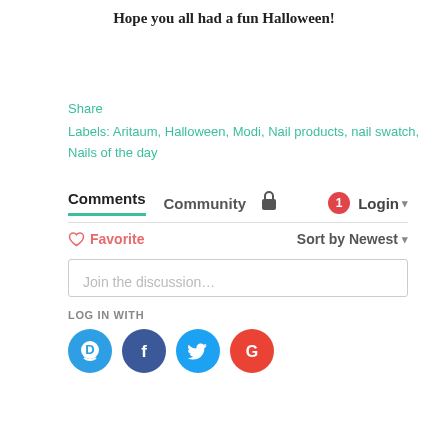Hope you all had a fun Halloween!
Share
Labels: Aritaum, Halloween, Modi, Nail products, nail swatch,
Nails of the day
Comments  Community  🔒  1  Login ▾
♡ Favorite     Sort by Newest ▾
Join the discussion…
LOG IN WITH